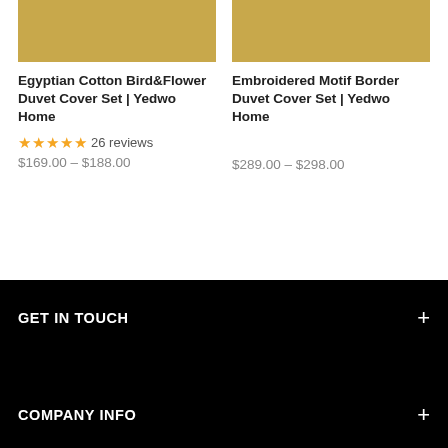[Figure (photo): Product image placeholder — golden/khaki colored rectangle with light gray top strip for Egyptian Cotton Bird&Flower Duvet Cover Set]
Egyptian Cotton Bird&Flower Duvet Cover Set | Yedwo Home
★★★★★ 26 reviews
$169.00 – $188.00
[Figure (photo): Product image placeholder — golden/khaki colored rectangle with light gray top strip for Embroidered Motif Border Duvet Cover Set]
Embroidered Motif Border Duvet Cover Set | Yedwo Home
$289.00 – $298.00
GET IN TOUCH +
COMPANY INFO +